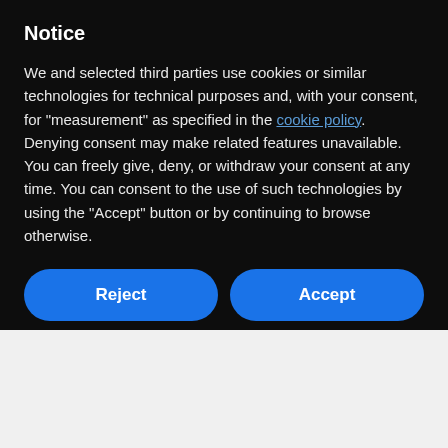Notice
We and selected third parties use cookies or similar technologies for technical purposes and, with your consent, for "measurement" as specified in the cookie policy. Denying consent may make related features unavailable.
You can freely give, deny, or withdraw your consent at any time. You can consent to the use of such technologies by using the "Accept" button or by continuing to browse otherwise.
Reject
Accept
Learn more and customize